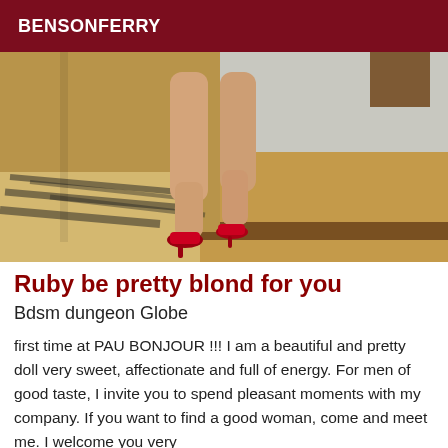BENSONFERRY
[Figure (photo): Photo of a person's legs wearing red high heels, standing near a zebra-print surface and a wooden floor with a wall in the background.]
Ruby be pretty blond for you
Bdsm dungeon Globe
first time at PAU BONJOUR !!! I am a beautiful and pretty doll very sweet, affectionate and full of energy. For men of good taste, I invite you to spend pleasant moments with my company. If you want to find a good woman, come and meet me. I welcome you very